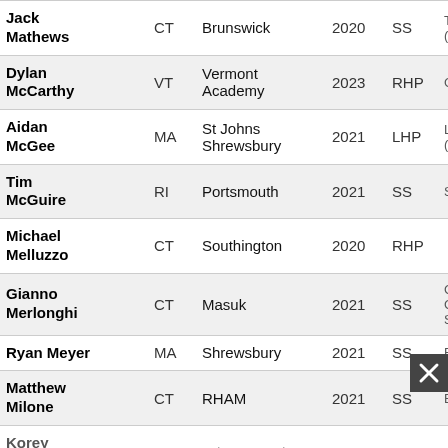| Name | State | School | Year | Pos |  |
| --- | --- | --- | --- | --- | --- |
| Jack Mathews | CT | Brunswick | 2020 | SS | T(0 |
| Dylan McCarthy | VT | Vermont Academy | 2023 | RHP | G |
| Aidan McGee | MA | St Johns Shrewsbury | 2021 | LHP | L(I |
| Tim McGuire | RI | Portsmouth | 2021 | SS | S |
| Michael Melluzzo | CT | Southington | 2020 | RHP |  |
| Gianno Merlonghi | CT | Masuk | 2021 | SS | C C S |
| Ryan Meyer | MA | Shrewsbury | 2021 | SS | F |
| Matthew Milone | CT | RHAM | 2021 | SS | B |
| Korey Morton | CT | Brien McMahon | 2020 | OF | C |
| Gavin Moser | MA | Wayland | 2020 |  | B |